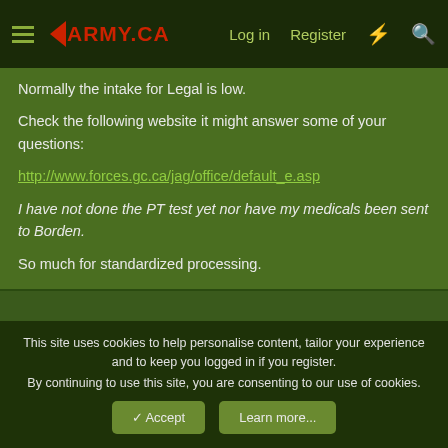ARMY.CA - Log in - Register
Normally the intake for Legal is low.

Check the following website it might answer some of your questions:

http://www.forces.gc.ca/jag/office/default_e.asp

I have not done the PT test yet nor have my medicals been sent to Borden.

So much for standardized processing.
Uberman
Guest
This site uses cookies to help personalise content, tailor your experience and to keep you logged in if you register.
By continuing to use this site, you are consenting to our use of cookies.